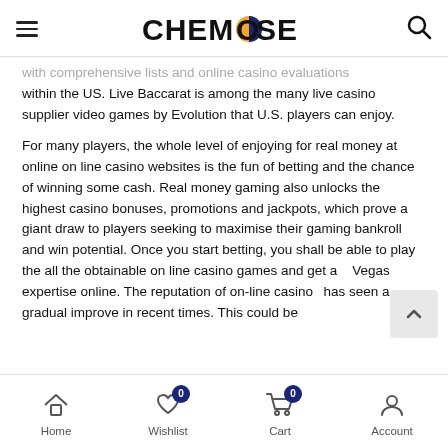CHEMROSE
with comprehensive lists and online casino evaluations within the US. Live Baccarat is among the many live casino supplier video games by Evolution that U.S. players can enjoy.
For many players, the whole level of enjoying for real money at online on line casino websites is the fun of betting and the chance of winning some cash. Real money gaming also unlocks the highest casino bonuses, promotions and jackpots, which prove a giant draw to players seeking to maximise their gaming bankroll and win potential. Once you start betting, you shall be able to play the all the obtainable on line casino games and get a Vegas expertise online. The reputation of on-line casinos has seen a gradual improve in recent times. This could be
Home  Wishlist  Cart  Account